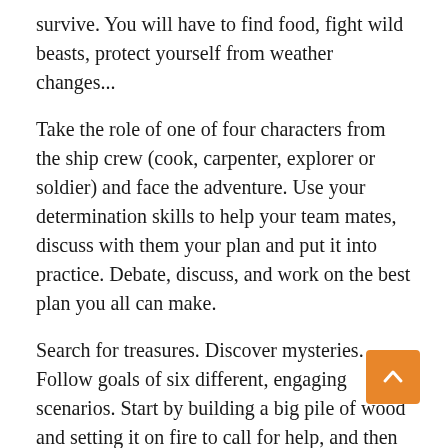survive. You will have to find food, fight wild beasts, protect yourself from weather changes...
Take the role of one of four characters from the ship crew (cook, carpenter, explorer or soldier) and face the adventure. Use your determination skills to help your team mates, discuss with them your plan and put it into practice. Debate, discuss, and work on the best plan you all can make.
Search for treasures. Discover mysteries. Follow goals of six different, engaging scenarios. Start by building a big pile of wood and setting it on fire to call for help, and then start new adventures. Become an exorcist on cursed Island. Become a treasure hunter on Volcano Island. Become a rescue team for a young lady who’s stuck on rock island...
Let the adventure live!
Read More